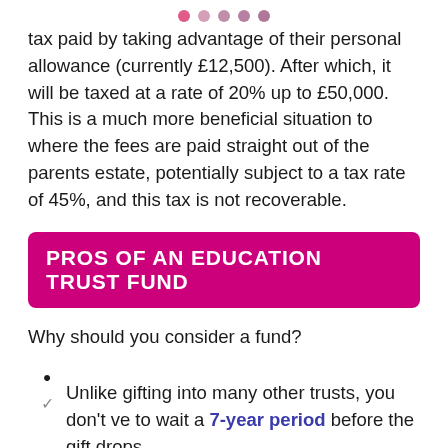● ● ● ● ●
tax paid by taking advantage of their personal allowance (currently £12,500). After which, it will be taxed at a rate of 20% up to £50,000. This is a much more beneficial situation to where the fees are paid straight out of the parents estate, potentially subject to a tax rate of 45%, and this tax is not recoverable.
PROS OF AN EDUCATION TRUST FUND
Why should you consider a fund?
Unlike gifting into many other trusts, you don't have to wait a 7-year period before the gift drops